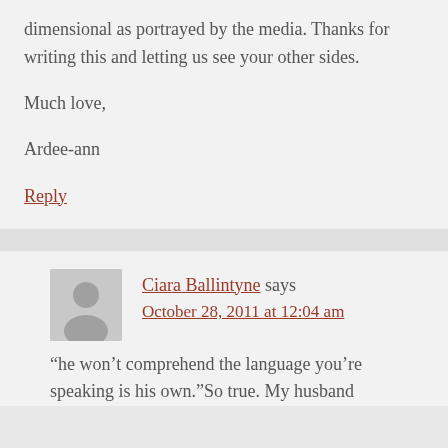dimensional as portrayed by the media. Thanks for writing this and letting us see your other sides.
Much love,
Ardee-ann
Reply
Ciara Ballintyne says
October 28, 2011 at 12:04 am
“he won’t comprehend the language you’re speaking is his own.”So true. My husband